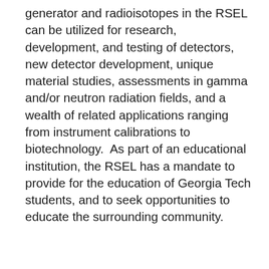generator and radioisotopes in the RSEL can be utilized for research, development, and testing of detectors, new detector development, unique material studies, assessments in gamma and/or neutron radiation fields, and a wealth of related applications ranging from instrument calibrations to biotechnology.  As part of an educational institution, the RSEL has a mandate to provide for the education of Georgia Tech students, and to seek opportunities to educate the surrounding community.